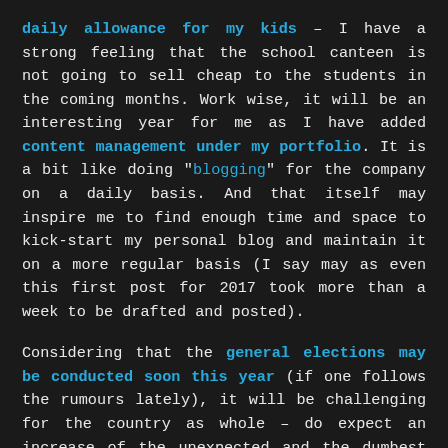daily allowance for my kids – I have a strong feeling that the school canteen is not going to sell cheap to the students in the coming months. Work wise, it will be an interesting year for me as I have added content management under my portfolio. It is a bit like doing "blogging" for the company on a daily basis. And that itself may inspire me to find enough time and space to kick-start my personal blog and maintain it on a more regular basis (I say may as even this first post for 2017 took more than a week to be drafted and posted).
Considering that the general elections may be conducted soon this year (if one follows the rumours lately), it will be challenging for the country as whole – do expect an increase of the unexpected and the dumbest statements & actions by our local "heroes". On the other hand, the attempts in 2016 to sweep the 1MDB fiasco under the carpet, well remains futile – not when a couple of bankers have jailed in